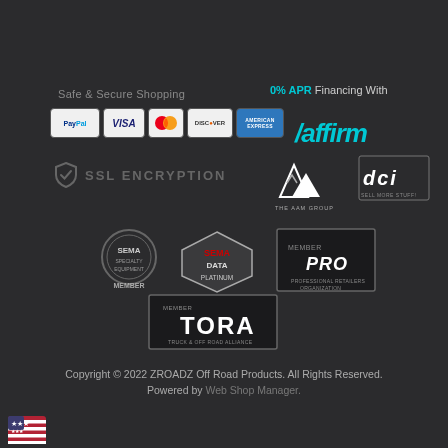Safe & Secure Shopping
0% APR Financing With Affirm
[Figure (logo): Payment method logos: PayPal, VISA, Mastercard, Discover, American Express]
[Figure (logo): Affirm logo in teal/cyan]
[Figure (logo): SSL Encryption badge with shield icon]
[Figure (logo): The AAM Group logo]
[Figure (logo): DCI Sell More Stuff logo]
[Figure (logo): SEMA Member badge]
[Figure (logo): SEMA DATA Platinum badge]
[Figure (logo): PRO Professional Retailers Organization member badge]
[Figure (logo): TORA Truck & Off Road Alliance member badge]
Copyright © 2022 ZROADZ Off Road Products. All Rights Reserved.
Powered by Web Shop Manager.